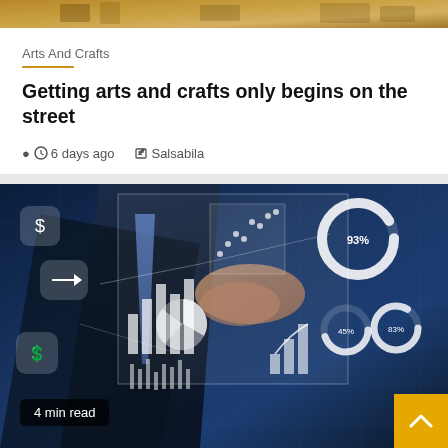[Figure (photo): Cropped image strip at top showing arts and crafts materials in golden/brown tones]
Arts And Crafts
Getting arts and crafts only begins on the street
6 days ago   Salsabila
[Figure (photo): Business person in dark suit touching a holographic display showing financial charts, donut graphs with 93%, 45%, 83% labels, bar charts, line charts, and various analytics icons on a blue-toned background]
4 min read